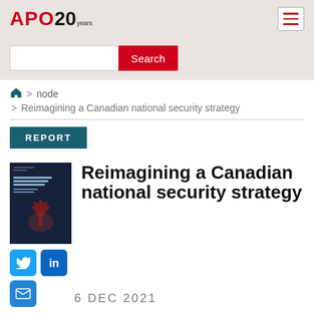APO 20 years
Search
> node > Reimagining a Canadian national security strategy
REPORT
[Figure (illustration): Book cover for 'Reimagining a Canadian National Security Strategy' with dark blue background and red maple leaf graphic]
Reimagining a Canadian national security strategy
6 DEC 2021